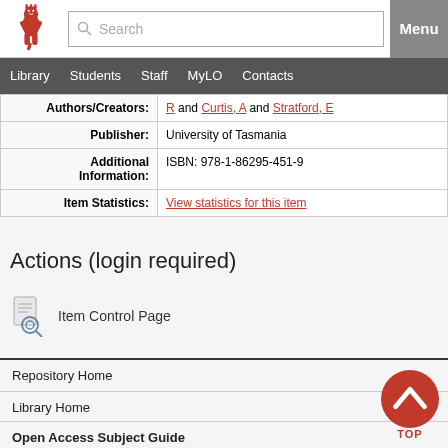University of Tasmania website header with logo, search bar, and Menu button
Navigation: Library | Students | Staff | MyLO | Contacts
| Field | Value |
| --- | --- |
| Authors/Creators: | R and Curtis, A and Stratford, E |
| Publisher: | University of Tasmania |
| Additional Information: | ISBN: 978-1-86295-451-9 |
| Item Statistics: | View statistics for this item |
Actions (login required)
Item Control Page
Repository Home
Library Home
Open Access Subject Guide